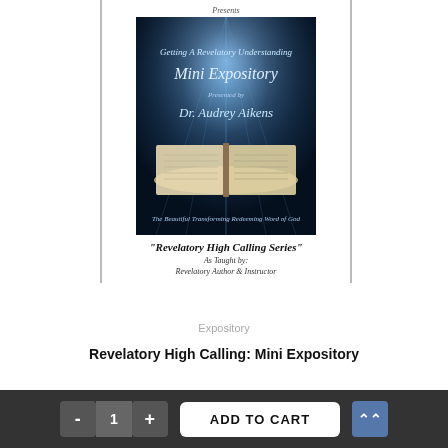[Figure (illustration): Book cover for 'Getting A Revelatory Understanding Mini Expository Presented by Dr. Audrey Aikens – The Beautiful Transforming Redeeming Word of God', with dark blue background, light rays, and an open Bible. Above the cover image text reads 'Presents'. Below the image: "Revelatory High Calling Series" and 'As Taught by: Revelatory Author & Instructor'.]
Expository
Revelatory High Calling: Mini Expository
- 1 + ADD TO CART ⋀⋀